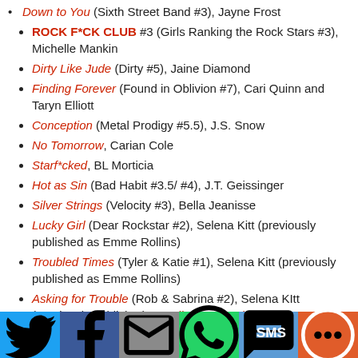Down to You (Sixth Street Band #3), Jayne Frost
ROCK F*CK CLUB #3 (Girls Ranking the Rock Stars #3), Michelle Mankin
Dirty Like Jude (Dirty #5), Jaine Diamond
Finding Forever (Found in Oblivion #7), Cari Quinn and Taryn Elliott
Conception (Metal Prodigy #5.5), J.S. Snow
No Tomorrow, Carian Cole
Starf*cked, BL Morticia
Hot as Sin (Bad Habit #3.5/ #4), J.T. Geissinger
Silver Strings (Velocity #3), Bella Jeanisse
Lucky Girl (Dear Rockstar #2), Selena Kitt (previously published as Emme Rollins)
Troubled Times (Tyler & Katie #1), Selena Kitt (previously published as Emme Rollins)
Asking for Trouble (Rob & Sabrina #2), Selena KItt (previously published as Following Trouble by Emme Rollins)
[Figure (infographic): Social media sharing bar with buttons: Twitter (blue), Facebook (dark blue), Email (gray), WhatsApp (green), SMS (light blue), More (orange)]